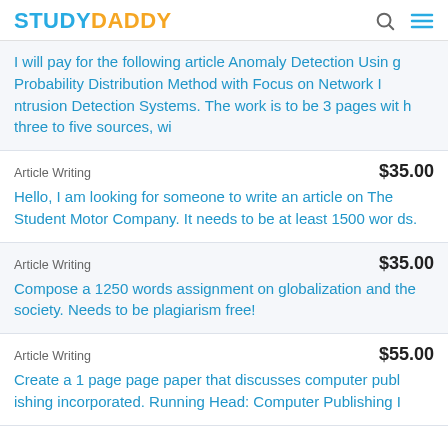STUDYDADDY
I will pay for the following article Anomaly Detection Using Probability Distribution Method with Focus on Network Intrusion Detection Systems. The work is to be 3 pages with three to five sources, wi
Article Writing    $35.00
Hello, I am looking for someone to write an article on The Student Motor Company. It needs to be at least 1500 words.
Article Writing    $35.00
Compose a 1250 words assignment on globalization and the society. Needs to be plagiarism free!
Article Writing    $55.00
Create a 1 page page paper that discusses computer publishing incorporated. Running Head: Computer Publishing I